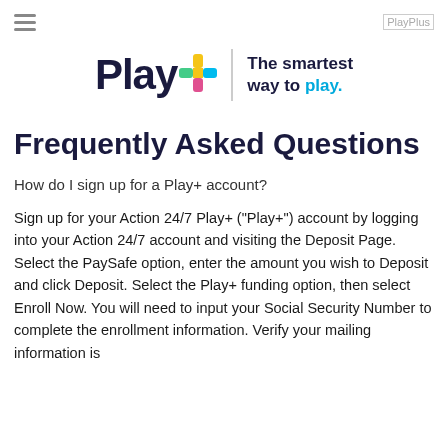PlayPlus
[Figure (logo): Play+ logo with colorful plus sign and tagline 'The smartest way to play.']
Frequently Asked Questions
How do I sign up for a Play+ account?
Sign up for your Action 24/7 Play+ ("Play+") account by logging into your Action 24/7 account and visiting the Deposit Page. Select the PaySafe option, enter the amount you wish to Deposit and click Deposit. Select the Play+ funding option, then select Enroll Now. You will need to input your Social Security Number to complete the enrollment information. Verify your mailing information is